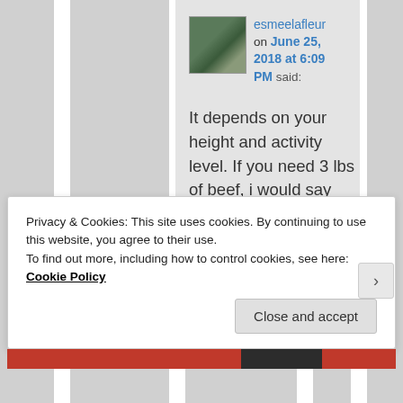esmeelafleur on June 25, 2018 at 6:09 PM said:
It depends on your height and activity level. If you need 3 lbs of beef, i would say you're not eating enough fat with it. 80/20 or 75/25 will give you
Privacy & Cookies: This site uses cookies. By continuing to use this website, you agree to their use.
To find out more, including how to control cookies, see here: Cookie Policy